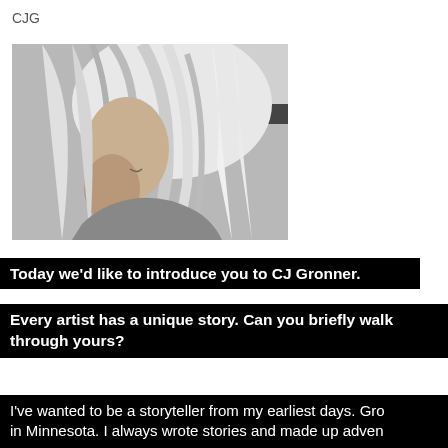CJG
[Figure (photo): Black and white profile photo of a woman with long blonde/light hair, smiling, looking to the left]
Today we'd like to introduce you to CJ Gronner.
Every artist has a unique story. Can you briefly walk through yours?
I've wanted to be a storyteller from my earliest days. Gro in Minnesota. I always wrote stories and made up adven